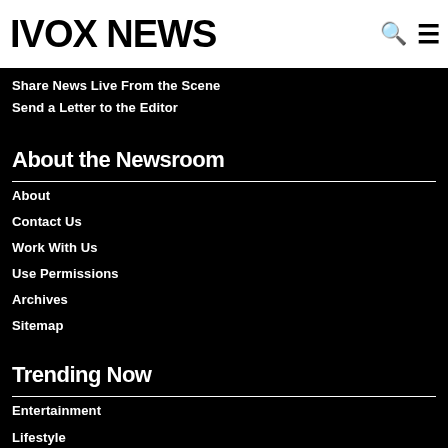IVOX NEWS
Share News Live From the Scene
Send a Letter to the Editor
About the Newsroom
About
Contact Us
Work With Us
Use Permissions
Archives
Sitemap
Trending Now
Entertainment
Lifestyle
Latest News
ABC NEWS